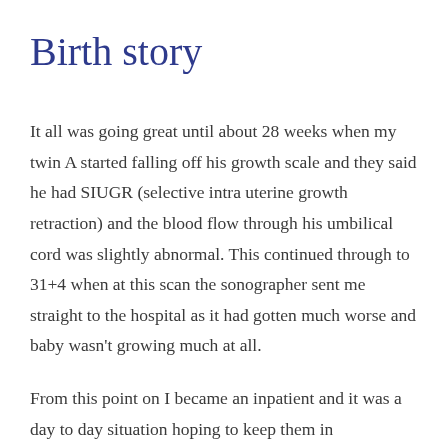Birth story
It all was going great until about 28 weeks when my twin A started falling off his growth scale and they said he had SIUGR (selective intra uterine growth retraction) and the blood flow through his umbilical cord was slightly abnormal. This continued through to 31+4 when at this scan the sonographer sent me straight to the hospital as it had gotten much worse and baby wasn't growing much at all.
From this point on I became an inpatient and it was a day to day situation hoping to keep them in